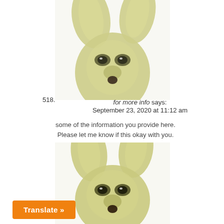[Figure (photo): Blurry anthropomorphic creature (bunny/fennec) with large ears and human-like face, top image]
518.
for more info says:
September 23, 2020 at 11:12 am
some of the information you provide here. Please let me know if this okay with you.
Reply
[Figure (photo): Blurry anthropomorphic creature (bunny/fennec) with large ears and human-like face, bottom image]
Translate »